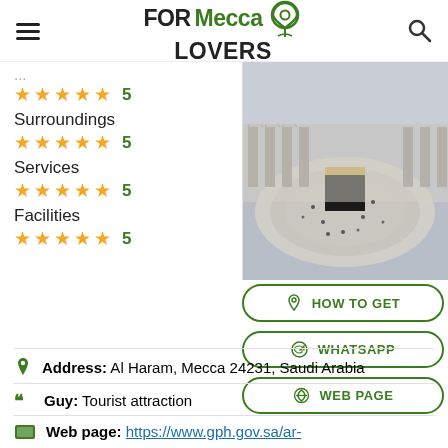FORMecca LOVERS
Surroundings ★★★★★ 5
Services ★★★★★ 5
Facilities ★★★★★ 5
[Figure (photo): Aerial view of Masjid al-Haram with the Kaaba in the center, surrounded by pilgrims walking around it in Mecca]
HOW TO GET
WHATSAPP
WEB PAGE
Address: Al Haram, Mecca 24231, Saudi Arabia
Guy: Tourist attraction
Web page: https://www.gph.gov.sa/ar-